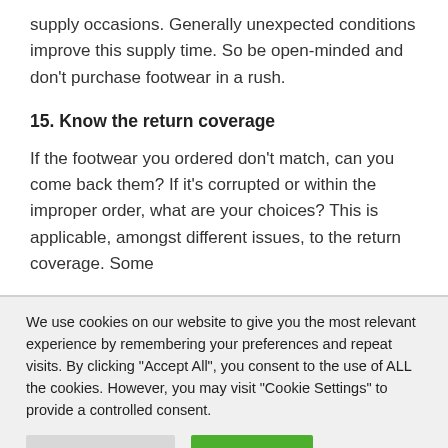supply occasions. Generally unexpected conditions improve this supply time. So be open-minded and don't purchase footwear in a rush.
15. Know the return coverage
If the footwear you ordered don't match, can you come back them? If it's corrupted or within the improper order, what are your choices? This is applicable, amongst different issues, to the return coverage. Some
We use cookies on our website to give you the most relevant experience by remembering your preferences and repeat visits. By clicking "Accept All", you consent to the use of ALL the cookies. However, you may visit "Cookie Settings" to provide a controlled consent.